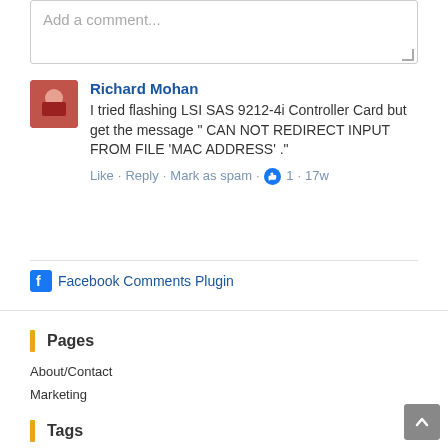Add a comment...
Richard Mohan
I tried flashing LSI SAS 9212-4i Controller Card but get the message " CAN NOT REDIRECT INPUT FROM FILE 'MAC ADDRESS' ."
Like · Reply · Mark as spam · 👍 1 · 17w
Facebook Comments Plugin
Pages
About/Contact
Marketing
Tags